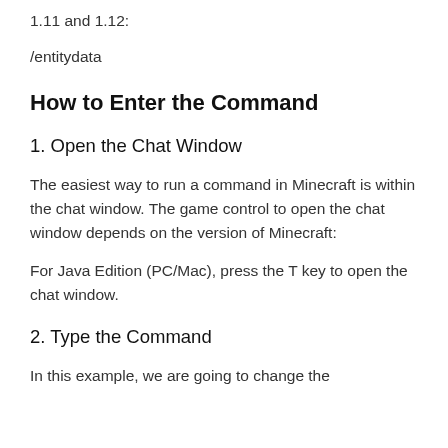1.11 and 1.12:
/entitydata
How to Enter the Command
1. Open the Chat Window
The easiest way to run a command in Minecraft is within the chat window. The game control to open the chat window depends on the version of Minecraft:
For Java Edition (PC/Mac), press the T key to open the chat window.
2. Type the Command
In this example, we are going to change the